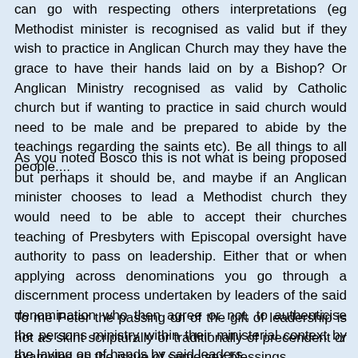can go with respecting others interpretations (eg Methodist minister is recognised as valid but if they wish to practice in Anglican Church may they have the grace to have their hands laid on by a Bishop? Or Anglican Ministry recognised as valid by Catholic church but if wanting to practice in said church would need to be male and be prepared to abide by the teachings regarding the saints etc). Be all things to all people....
As you noted Bosco this is not what is being proposed but perhaps it should be, and maybe if an Anglican minister chooses to lead a Methodist church they would need to be able to accept their churches teaching of Presbyters with Episcopal oversight have authority to pass on leadership. Either that or when applying across denominations you go through a discernment process undertaken by leaders of the said denomination who then agree or not, to authenticise the persons ministry within their ministerial context by the laying on of hands by said leaders.
To me Peter the passing on of the gift of leadership is not as skint scripturally or traditionally of precendent or examples as the issue of same sex blessings.